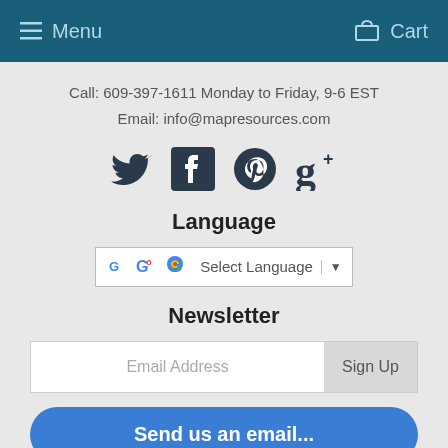Menu  Cart
Call: 609-397-1611 Monday to Friday, 9-6 EST
Email: info@mapresources.com
[Figure (illustration): Social media icons: Twitter bird, Facebook F, Pinterest P, Google+ G+]
Language
[Figure (screenshot): Google Translate widget with 'Select Language' dropdown]
Newsletter
Email Address
Sign Up
Send us an email...